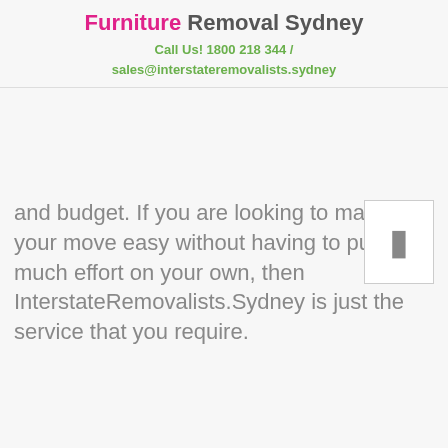Furniture Removal Sydney
Call Us! 1800 218 344 / sales@interstateremovalists.sydney
[Figure (other): Small thumbnail/placeholder image box with a narrow vertical rectangle shape inside]
and budget. If you are looking to make your move easy without having to put in much effort on your own, then InterstateRemovalists.Sydney is just the service that you require.